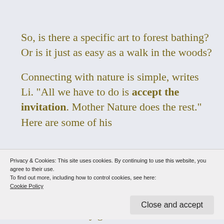So, is there a specific art to forest bathing? Or is it just as easy as a walk in the woods?
Connecting with nature is simple, writes Li. “All we have to do is accept the invitation. Mother Nature does the rest.” Here are some of his suggested steps.
Privacy & Cookies: This site uses cookies. By continuing to use this website, you agree to their use.
To find out more, including how to control cookies, see here:
Cookie Policy
Close and accept
Just look for any green area. It could be an